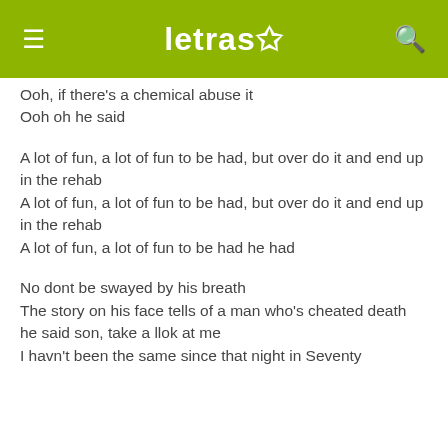letras
Ooh, if there's a chemical abuse it
Ooh oh he said
A lot of fun, a lot of fun to be had, but over do it and end up in the rehab
A lot of fun, a lot of fun to be had, but over do it and end up in the rehab
A lot of fun, a lot of fun to be had he had
No dont be swayed by his breath
The story on his face tells of a man who's cheated death
he said son, take a llok at me
I havn't been the same since that night in Seventy